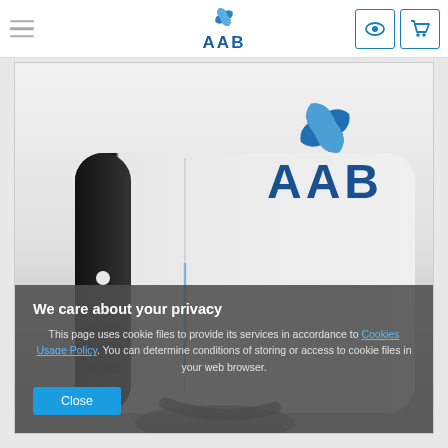AAB navigation bar with hamburger menu, AAB logo, eye icon and cart icon
[Figure (photo): Close-up photo of a white electronic device (power bank or router) with a dark side edge, a small LED light, USB ports, and a dark cable. AAB logo overlaid in upper right of image area.]
We care about your privacy
This page uses cookie files to provide its services in accordance to Cookies Usage Policy. You can determine conditions of storing or access to cookie files in your web browser.
Close